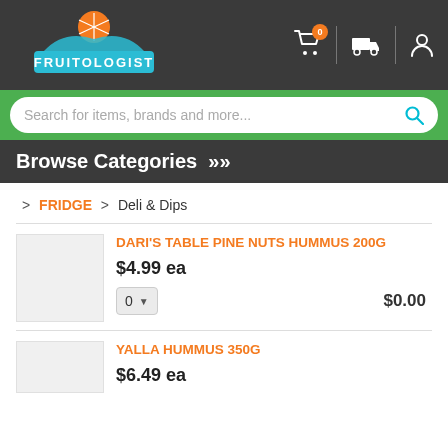[Figure (logo): Fruitologist logo with orange fruit slice and teal banner text]
Browse Categories »
> FRIDGE > Deli & Dips
DARI'S TABLE PINE NUTS HUMMUS 200g
$4.99 ea
$0.00
YALLA HUMMUS 350g
$6.49 ea